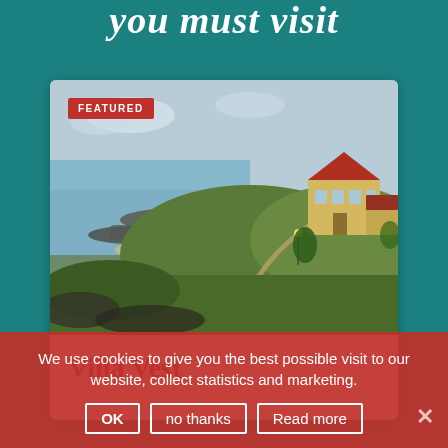you must visit
[Figure (photo): Aerial/elevated view of a coastal landscape with a sandy beach, rocky breakwaters, green hillside, a path, and a yellow house with red roof in the background. 'FEATURED' badge in top left corner.]
Villa Vest
We use cookies to give you the best possible visit to our website, collect statistics and marketing.
OK   no thanks   Read more